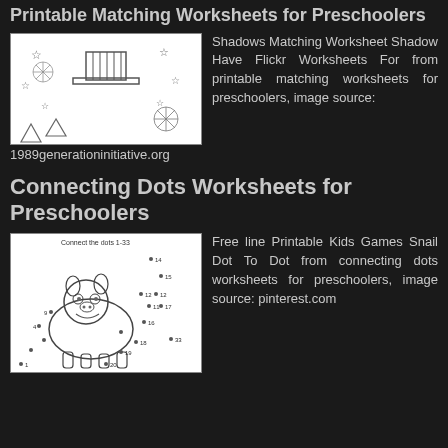Printable Matching Worksheets for Preschoolers
[Figure (illustration): Black and white matching worksheet showing a top hat, stars, triangles and decorative items with snowflake-like patterns]
Shadows Matching Worksheet Shadow Have Flickr Worksheets For from printable matching worksheets for preschoolers, image source:
1989generationinitiative.org
Connecting Dots Worksheets for Preschoolers
[Figure (illustration): Black and white connect the dots worksheet showing a cartoon snail/pig character with numbered dots from 1-33]
Free line Printable Kids Games Snail Dot To Dot from connecting dots worksheets for preschoolers, image source: pinterest.com